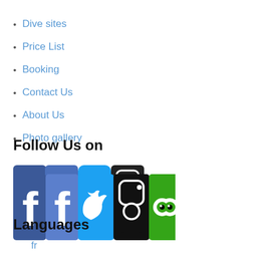Dive sites
Price List
Booking
Contact Us
About Us
Photo gallery
Follow Us on
[Figure (illustration): Social media icons: Facebook (two icons), Twitter, Instagram, TripAdvisor, RSS feed]
Languages
fr